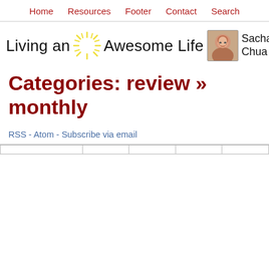Home  Resources  Footer  Contact  Search
[Figure (logo): Living an Awesome Life blog logo with handwritten text, sunburst graphic, photo of Sacha Chua, and author name Sacha Chua]
Categories: review >> monthly
RSS - Atom - Subscribe via email
|  |  |  |  |  |
| --- | --- | --- | --- | --- |